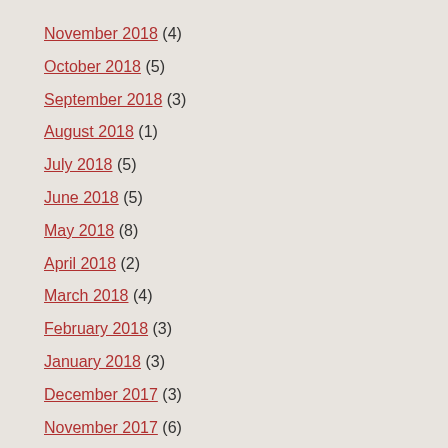November 2018 (4)
October 2018 (5)
September 2018 (3)
August 2018 (1)
July 2018 (5)
June 2018 (5)
May 2018 (8)
April 2018 (2)
March 2018 (4)
February 2018 (3)
January 2018 (3)
December 2017 (3)
November 2017 (6)
October 2017 (5)